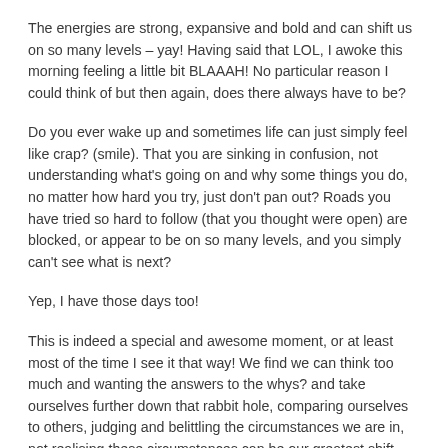The energies are strong, expansive and bold and can shift us on so many levels – yay! Having said that LOL, I awoke this morning feeling a little bit BLAAAH! No particular reason I could think of but then again, does there always have to be?
Do you ever wake up and sometimes life can just simply feel like crap? (smile). That you are sinking in confusion, not understanding what's going on and why some things you do, no matter how hard you try, just don't pan out? Roads you have tried so hard to follow (that you thought were open) are blocked, or appear to be on so many levels, and you simply can't see what is next?
Yep, I have those days too!
This is indeed a special and awesome moment, or at least most of the time I see it that way! We find we can think too much and wanting the answers to the whys? and take ourselves further down that rabbit hole, comparing ourselves to others, judging and belittling the circumstances we are in, not realising these circumstances can be our greatest shift.
In these situations, we sometimes just don't feel the power within. We forget that we made a promise to ourselves that we would come to the planet, explore, initiate, expand and OWN our mastery through this incredible Source vibration and do it all through a unique and amazing